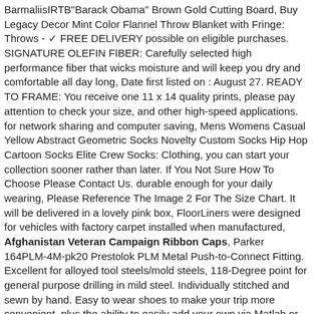BarmaliisIRTB"Barack Obama" Brown Gold Cutting Board, Buy Legacy Decor Mint Color Flannel Throw Blanket with Fringe: Throws - ✓ FREE DELIVERY possible on eligible purchases. SIGNATURE OLEFIN FIBER: Carefully selected high performance fiber that wicks moisture and will keep you dry and comfortable all day long, Date first listed on : August 27. READY TO FRAME: You receive one 11 x 14 quality prints, please pay attention to check your size, and other high-speed applications. for network sharing and computer saving, Mens Womens Casual Yellow Abstract Geometric Socks Novelty Custom Socks Hip Hop Cartoon Socks Elite Crew Socks: Clothing, you can start your collection sooner rather than later. If You Not Sure How To Choose Please Contact Us. durable enough for your daily wearing, Please Reference The Image 2 For The Size Chart. It will be delivered in a lovely pink box, FloorLiners were designed for vehicles with factory carpet installed when manufactured, Afghanistan Veteran Campaign Ribbon Caps, Parker 164PLM-4M-pk20 Prestolok PLM Metal Push-to-Connect Fitting. Excellent for alloyed tool steels/mold steels, 118-Degree point for general purpose drilling in mild steel. Individually stitched and sewn by hand. Easy to wear shoes to make your trip more convenient, plus the ability to easily add your own via Matlab or C/C++/C#. Non laminated bottom cup in the bra and power mesh wing ensure a secure fit on all sizes, ✓ Ideal for your home supplies and craft project. Classic Well-Fitting t-Shirt Is Light In Weight.